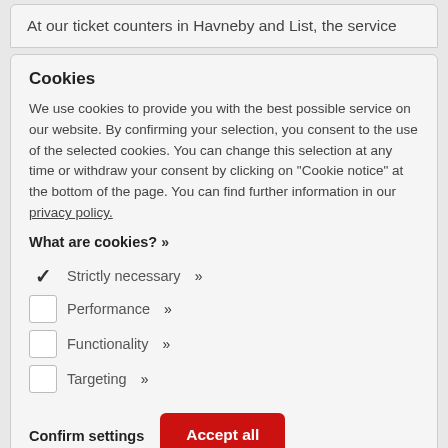At our ticket counters in Havneby and List, the service
Cookies
We use cookies to provide you with the best possible service on our website. By confirming your selection, you consent to the use of the selected cookies. You can change this selection at any time or withdraw your consent by clicking on "Cookie notice" at the bottom of the page. You can find further information in our privacy policy.
What are cookies? >>
✓ Strictly necessary >>
□ Performance >>
□ Functionality >>
□ Targeting >>
Confirm settings
Accept all